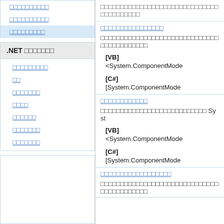□□□□□□□□□□
□□□□□□□□□□
□□□□□□□□□
.NET □□□□□□□
□□□□□□□□□
□□
□□□□□□□
□□□□
□□□□□□
□□□□□□□
□□□□□□□
□□□□□□□□□□□□□□□□□□□□
□□□□□□□□□□□□□□□□
□□□□□□□□□□□□□□□□□□□□□□□□□□□□□□□□□□
[VB]
<System.ComponentMode
[C#]
[System.ComponentMode
□□□□□□□□□□□□
□□□□□□□□□□□□□□□□□□□□□□□□□□□ Syst
[VB]
<System.ComponentMode
[C#]
[System.ComponentMode
□□□□□□□□□□□□□□□□□□
□□□□□□□□□□□□□□□□□□□□□□□□□□□□□□□□□□□□